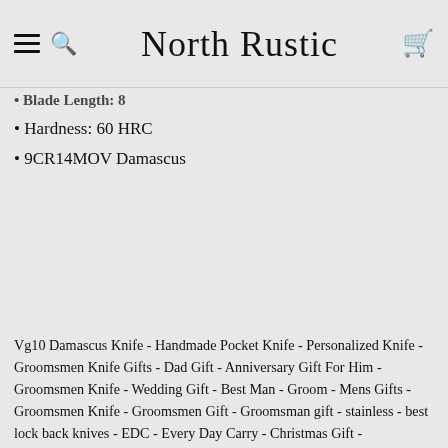North Rustic
Blade Length: 8
Hardness: 60 HRC
9CR14MOV Damascus
Vg10 Damascus Knife - Handmade Pocket Knife - Personalized Knife - Groomsmen Knife Gifts - Dad Gift - Anniversary Gift For Him - Groomsmen Knife - Wedding Gift - Best Man - Groom - Mens Gifts - Groomsmen Knife - Groomsmen Gift - Groomsman gift - stainless - best lock back knives - EDC - Every Day Carry - Christmas Gift -